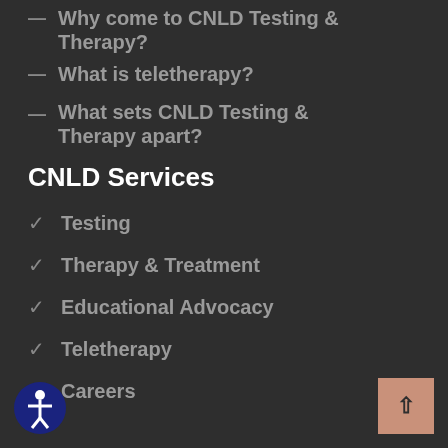Why come to CNLD Testing & Therapy?
What is teletherapy?
What sets CNLD Testing & Therapy apart?
CNLD Services
Testing
Therapy & Treatment
Educational Advocacy
Teletherapy
Careers